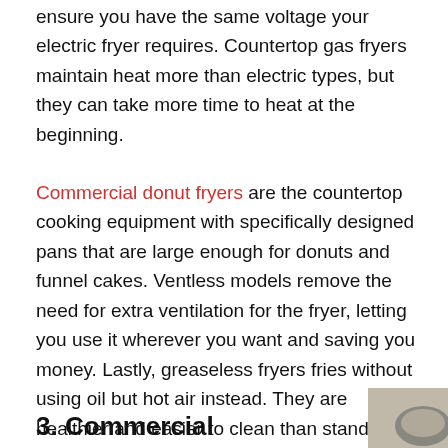ensure you have the same voltage your electric fryer requires. Countertop gas fryers maintain heat more than electric types, but they can take more time to heat at the beginning.
Commercial donut fryers are the countertop cooking equipment with specifically designed pans that are large enough for donuts and funnel cakes. Ventless models remove the need for extra ventilation for the fryer, letting you use it wherever you want and saving you money. Lastly, greaseless fryers fries without using oil but hot air instead. They are healthier and easier to clean than standard fryers.
3. Commercial